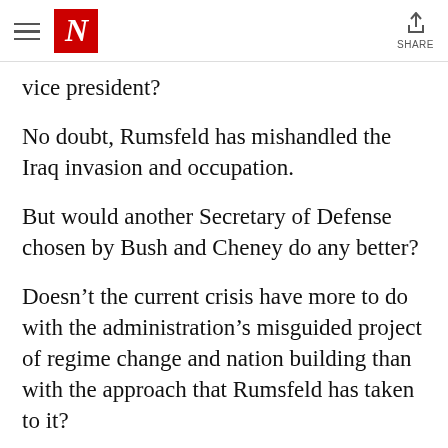N | SHARE
vice president?
No doubt, Rumsfeld has mishandled the Iraq invasion and occupation.
But would another Secretary of Defense chosen by Bush and Cheney do any better?
Doesn't the current crisis have more to do with the administration's misguided project of regime change and nation building than with the approach that Rumsfeld has taken to it?
If the problem is with the project, then should replacing Rumsfeld matter as much for...